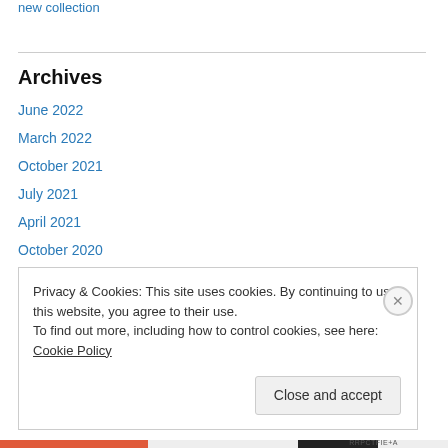new collection
Archives
June 2022
March 2022
October 2021
July 2021
April 2021
October 2020
June 2020
April 2020
Privacy & Cookies: This site uses cookies. By continuing to use this website, you agree to their use. To find out more, including how to control cookies, see here: Cookie Policy
Close and accept